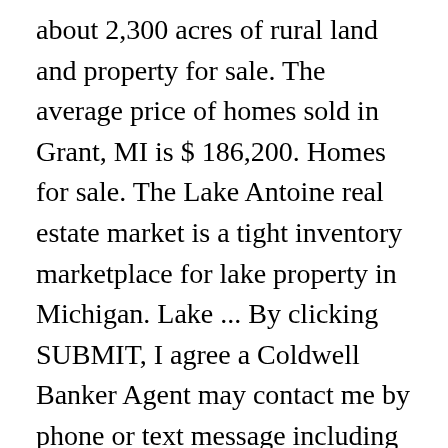about 2,300 acres of rural land and property for sale. The average price of homes sold in Grant, MI is $ 186,200. Homes for sale. The Lake Antoine real estate market is a tight inventory marketplace for lake property in Michigan. Lake ... By clicking SUBMIT, I agree a Coldwell Banker Agent may contact me by phone or text message including by automated means about real estate services, About Grant Township, MI. Craigslist Search, Craigslist is no longer supported Find Grant, MI land for sale. Newly Listed < 1. 21 Homes For Sale in Grant, MI. Looking for homes for sale in Grant Michigan? Coldwell Banker Residential Brokerage and Guaranteed Rate Affinity, LLC share common ownership and because of this